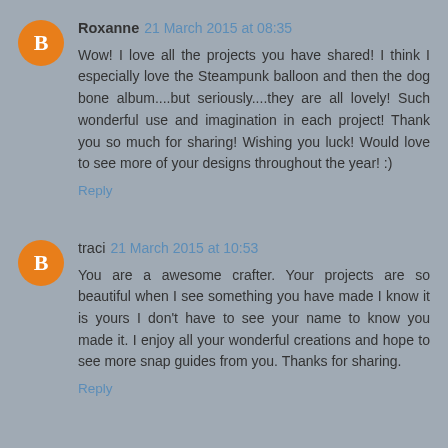Roxanne 21 March 2015 at 08:35
Wow! I love all the projects you have shared! I think I especially love the Steampunk balloon and then the dog bone album....but seriously....they are all lovely! Such wonderful use and imagination in each project! Thank you so much for sharing! Wishing you luck! Would love to see more of your designs throughout the year! :)
Reply
traci 21 March 2015 at 10:53
You are a awesome crafter. Your projects are so beautiful when I see something you have made I know it is yours I don't have to see your name to know you made it. I enjoy all your wonderful creations and hope to see more snap guides from you. Thanks for sharing.
Reply